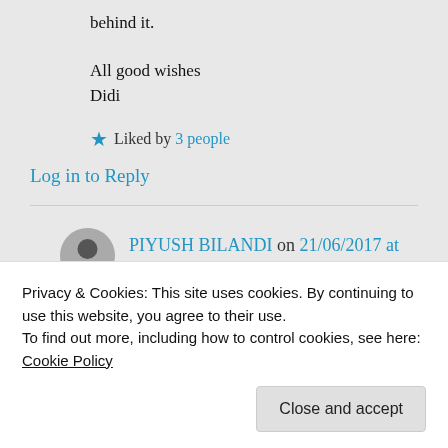behind it.
All good wishes
Didi
★ Liked by 3 people
Log in to Reply
PIYUSH BILANDI on 21/06/2017 at 17:59
Privacy & Cookies: This site uses cookies. By continuing to use this website, you agree to their use.
To find out more, including how to control cookies, see here: Cookie Policy